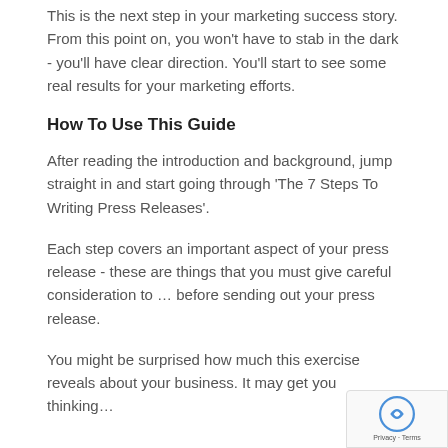This is the next step in your marketing success story. From this point on, you won't have to stab in the dark - you'll have clear direction. You'll start to see some real results for your marketing efforts.
How To Use This Guide
After reading the introduction and background, jump straight in and start going through 'The 7 Steps To Writing Press Releases'.
Each step covers an important aspect of your press release - these are things that you must give careful consideration to … before sending out your press release.
You might be surprised how much this exercise reveals about your business. It may get you thinking…